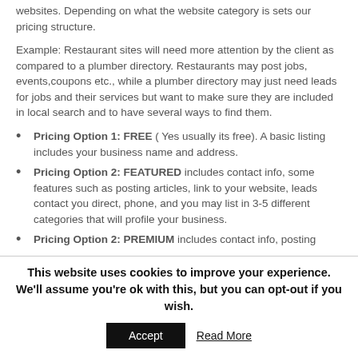websites. Depending on what the website category is sets our pricing structure.
Example: Restaurant sites will need more attention by the client as compared to a plumber directory. Restaurants may post jobs, events,coupons etc., while a plumber directory may just need leads for jobs and their services but want to make sure they are included in local search and to have several ways to find them.
Pricing Option 1: FREE ( Yes usually its free). A basic listing includes your business name and address.
Pricing Option 2: FEATURED includes contact info, some features such as posting articles, link to your website, leads contact you direct, phone, and you may list in 3-5 different categories that will profile your business.
Pricing Option 2: PREMIUM includes contact info, posting
This website uses cookies to improve your experience. We'll assume you're ok with this, but you can opt-out if you wish.